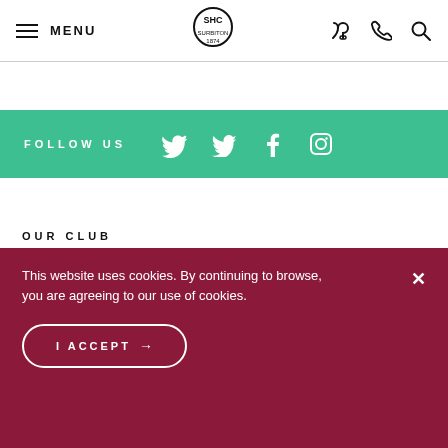MENU | Surbiton HC Logo | Phone | Search
FOLLOW US
OUR CLUB
SPONSORS
NEWS & EVENTS
This website uses cookies. By continuing to browse, you are agreeing to our use of cookies.
I ACCEPT →